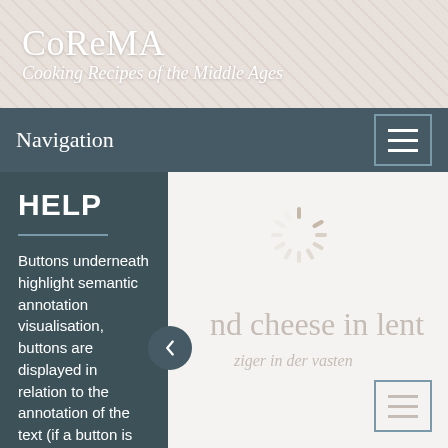CoReMA
Cooking Recipes of the Middle Ages
Navigation
HELP
Buttons underneath highlight semantic annotation visualisation, buttons are displayed in relation to the annotation of the text (if a button is not here, the data
nd cheese in lent
ziger in der vasten